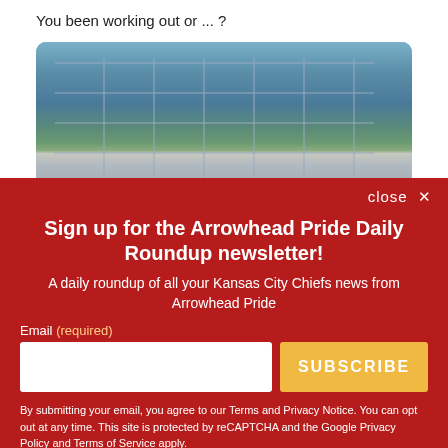You been working out or ... ?
[Figure (photo): Outdoor photo of a glass-paneled building with reflections of trees, a person visible in front of the building in the lower center area]
close ✕
Sign up for the Arrowhead Pride Daily Roundup newsletter!
A daily roundup of all your Kansas City Chiefs news from Arrowhead Pride
Email (required)
SUBSCRIBE
By submitting your email, you agree to our Terms and Privacy Notice. You can opt out at any time. This site is protected by reCAPTCHA and the Google Privacy Policy and Terms of Service apply.